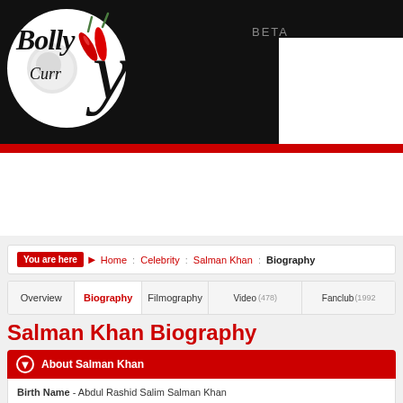[Figure (logo): BollyCurry logo with script text on white circle, red chili peppers, against black header bar. Beta text in gray.]
HOME | NEWS | MOVIES | CELEB
Celebrity [search] SEARCH
You are here ▶ Home : Celebrity : Salman Khan : Biography
Overview | Biography | Filmography | Video (478) | Fanclub (1992)
Salman Khan Biography
About Salman Khan
Birth Name - Abdul Rashid Salim Salman Khan
He is known as the macho man of Bollywood. Whether it's a romantic film...